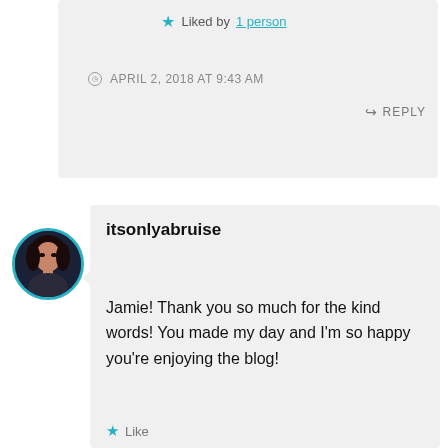★ Liked by 1 person
APRIL 2, 2018 AT 9:43 AM
↪ REPLY
[Figure (photo): Circular avatar photo of a woman with dark hair, teal border]
itsonlyabruise
Jamie! Thank you so much for the kind words! You made my day and I'm so happy you're enjoying the blog!
Like